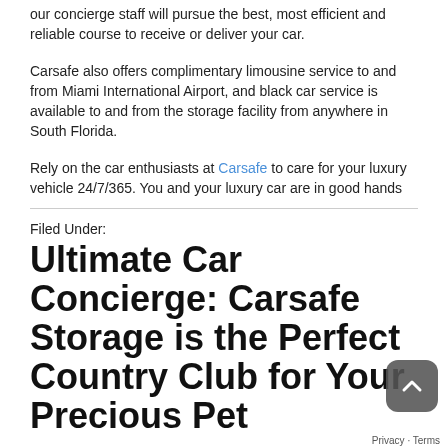our concierge staff will pursue the best, most efficient and reliable course to receive or deliver your car.
Carsafe also offers complimentary limousine service to and from Miami International Airport, and black car service is available to and from the storage facility from anywhere in South Florida.
Rely on the car enthusiasts at Carsafe to care for your luxury vehicle 24/7/365. You and your luxury car are in good hands
Filed Under:
Ultimate Car Concierge: Carsafe Storage is the Perfect Country Club for Your Precious Pet
February 24, 2019 By